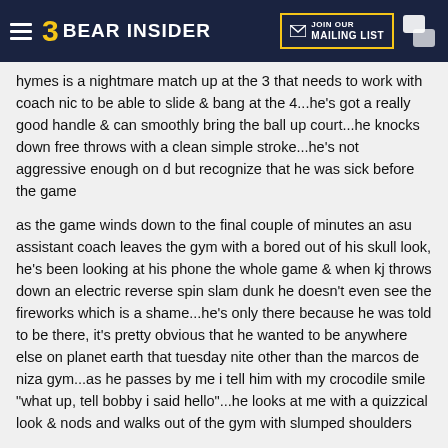Bear Insider
hymes is a nightmare match up at the 3 that needs to work with coach nic to be able to slide & bang at the 4...he's got a really good handle & can smoothly bring the ball up court...he knocks down free throws with a clean simple stroke...he's not aggressive enough on d but recognize that he was sick before the game
as the game winds down to the final couple of minutes an asu assistant coach leaves the gym with a bored out of his skull look, he's been looking at his phone the whole game & when kj throws down an electric reverse spin slam dunk he doesn't even see the fireworks which is a shame...he's only there because he was told to be there, it's pretty obvious that he wanted to be anywhere else on planet earth that tuesday nite other than the marcos de niza gym...as he passes by me i tell him with my crocodile smile "what up, tell bobby i said hello"...he looks at me with a quizzical look & nods and walks out of the gym with slumped shoulders
it was a fun nite in the desert, i got to meet the future of cal basketball in isaac hymes, too bad he's not all grown up yet
[Figure (photo): Image placeholder icon showing a mountain/landscape symbol on dark gray background]